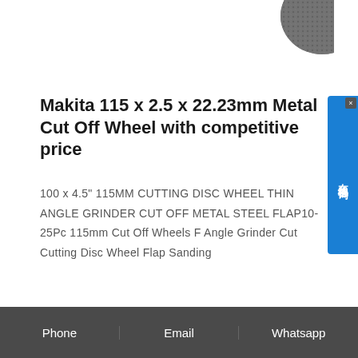[Figure (photo): Partial view of a grinding/cutting disc wheel (dark metallic) in upper right corner]
Makita 115 x 2.5 x 22.23mm Metal Cut Off Wheel with competitive price
100 x 4.5" 115MM CUTTING DISC WHEEL THIN ANGLE GRINDER CUT OFF METAL STEEL FLAP10-25Pc 115mm Cut Off Wheels F Angle Grinder Cut Cutting Disc Wheel Flap Sanding
Get Price
Phone | Email | Whatsapp